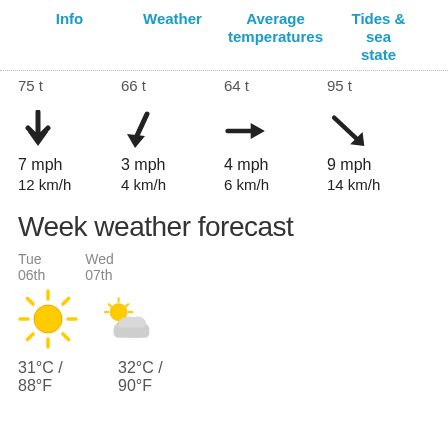| Info | Weather | Average temperatures | Tides & sea state |
| --- | --- | --- | --- |
| 75 t | 66 t | 64 t | 95 t |
| ↓
7 mph
12 km/h | ↓
3 mph
4 km/h | →
4 mph
6 km/h | ↘
9 mph
14 km/h |
Week weather forecast
Tue
06th
Wed
07th
[Figure (illustration): Sun emoji icon (clear sky)]
[Figure (illustration): Partly cloudy emoji icon]
31°C / 88°F
32°C / 90°F